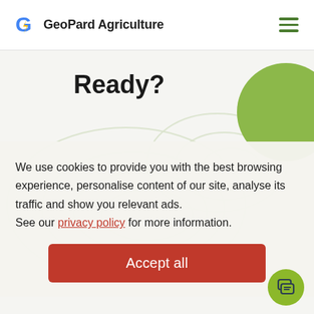[Figure (logo): GeoPard Agriculture logo with stylized G icon (blue/yellow) and bold text 'GeoPard Agriculture']
[Figure (illustration): Hamburger menu icon with three horizontal green lines]
Ready?
[Figure (illustration): Light green decorative circle in the top-right corner]
We use cookies to provide you with the best browsing experience, personalise content of our site, analyse its traffic and show you relevant ads.
See our privacy policy for more information.
Accept all